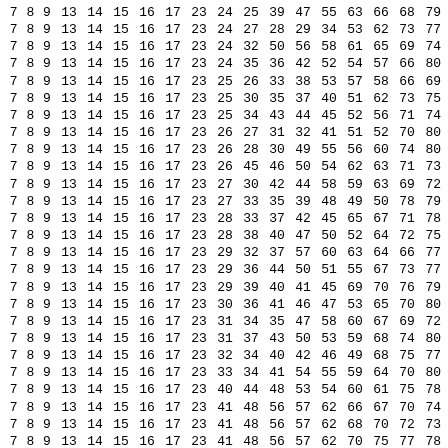| 7 | 8 | 9 | 13 | 14 | 15 | 16 | 17 | 23 | 24 | 25 | 39 | 47 | 55 | 63 | 66 | 68 | 79 |
| 7 | 8 | 9 | 13 | 14 | 15 | 16 | 17 | 23 | 24 | 27 | 28 | 29 | 34 | 53 | 62 | 73 | 77 |
| 7 | 8 | 9 | 13 | 14 | 15 | 16 | 17 | 23 | 24 | 32 | 50 | 56 | 58 | 61 | 65 | 69 | 74 |
| 7 | 8 | 9 | 13 | 14 | 15 | 16 | 17 | 23 | 24 | 35 | 36 | 42 | 52 | 54 | 57 | 66 | 80 |
| 7 | 8 | 9 | 13 | 14 | 15 | 16 | 17 | 23 | 25 | 26 | 33 | 38 | 53 | 57 | 58 | 66 | 69 |
| 7 | 8 | 9 | 13 | 14 | 15 | 16 | 17 | 23 | 25 | 30 | 35 | 37 | 40 | 51 | 62 | 73 | 75 |
| 7 | 8 | 9 | 13 | 14 | 15 | 16 | 17 | 23 | 25 | 34 | 43 | 44 | 45 | 52 | 56 | 71 | 74 |
| 7 | 8 | 9 | 13 | 14 | 15 | 16 | 17 | 23 | 26 | 27 | 31 | 32 | 41 | 51 | 52 | 70 | 80 |
| 7 | 8 | 9 | 13 | 14 | 15 | 16 | 17 | 23 | 26 | 28 | 30 | 49 | 55 | 56 | 60 | 74 | 80 |
| 7 | 8 | 9 | 13 | 14 | 15 | 16 | 17 | 23 | 26 | 45 | 46 | 50 | 54 | 62 | 63 | 71 | 73 |
| 7 | 8 | 9 | 13 | 14 | 15 | 16 | 17 | 23 | 27 | 30 | 42 | 44 | 58 | 59 | 63 | 69 | 72 |
| 7 | 8 | 9 | 13 | 14 | 15 | 16 | 17 | 23 | 27 | 33 | 35 | 39 | 48 | 49 | 50 | 78 | 79 |
| 7 | 8 | 9 | 13 | 14 | 15 | 16 | 17 | 23 | 28 | 33 | 37 | 42 | 45 | 65 | 67 | 71 | 78 |
| 7 | 8 | 9 | 13 | 14 | 15 | 16 | 17 | 23 | 28 | 38 | 40 | 47 | 50 | 52 | 64 | 72 | 75 |
| 7 | 8 | 9 | 13 | 14 | 15 | 16 | 17 | 23 | 29 | 32 | 37 | 57 | 60 | 63 | 64 | 66 | 77 |
| 7 | 8 | 9 | 13 | 14 | 15 | 16 | 17 | 23 | 29 | 36 | 44 | 50 | 51 | 55 | 67 | 73 | 77 |
| 7 | 8 | 9 | 13 | 14 | 15 | 16 | 17 | 23 | 29 | 39 | 40 | 41 | 45 | 69 | 70 | 76 | 79 |
| 7 | 8 | 9 | 13 | 14 | 15 | 16 | 17 | 23 | 30 | 36 | 41 | 46 | 47 | 53 | 65 | 70 | 80 |
| 7 | 8 | 9 | 13 | 14 | 15 | 16 | 17 | 23 | 31 | 34 | 35 | 47 | 58 | 60 | 67 | 69 | 72 |
| 7 | 8 | 9 | 13 | 14 | 15 | 16 | 17 | 23 | 31 | 37 | 43 | 50 | 53 | 59 | 68 | 74 | 80 |
| 7 | 8 | 9 | 13 | 14 | 15 | 16 | 17 | 23 | 32 | 34 | 40 | 42 | 46 | 49 | 68 | 75 | 77 |
| 7 | 8 | 9 | 13 | 14 | 15 | 16 | 17 | 23 | 33 | 34 | 41 | 54 | 55 | 59 | 64 | 70 | 80 |
| 7 | 8 | 9 | 13 | 14 | 15 | 16 | 17 | 23 | 40 | 44 | 48 | 53 | 54 | 60 | 61 | 75 | 78 |
| 7 | 8 | 9 | 13 | 14 | 15 | 16 | 17 | 23 | 41 | 48 | 56 | 57 | 62 | 66 | 67 | 70 | 74 |
| 7 | 8 | 9 | 13 | 14 | 15 | 16 | 17 | 23 | 41 | 48 | 56 | 57 | 62 | 68 | 70 | 72 | 73 |
| 7 | 8 | 9 | 13 | 14 | 15 | 16 | 17 | 23 | 41 | 48 | 56 | 57 | 62 | 70 | 75 | 77 | 78 |
| 7 | 8 | 9 | 13 | 14 | 15 | 16 | 17 | 23 | 45 | 47 | 49 | 51 | 57 | 59 | 61 | 66 | 71 |
| 7 | 8 | 9 | 13 | 14 | 15 | 16 | 17 | 23 | 47 | 60 | 66 | 72 | 73 | 74 | 77 | 78 | 80 |
| 7 | 8 | 9 | 13 | 14 | 15 | 16 | 17 | 24 | 25 | 28 | 30 | 41 | 52 | 58 | 67 | 72 | 75 |
| 7 | 8 | 9 | 13 | 14 | 15 | 16 | 17 | 24 | 25 | 29 | 40 | 46 | 48 | 50 | 57 | 74 | 76 |